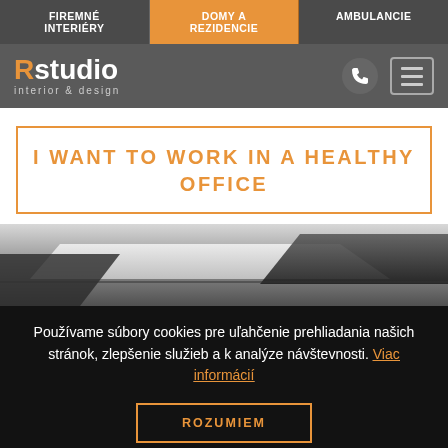FIREMNÉ INTERIÉRY | DOMY A REZIDENCIE | AMBULANCIE
[Figure (logo): Rstudio interior & design logo with phone icon and hamburger menu]
I WANT TO WORK IN A HEALTHY OFFICE
[Figure (photo): Office furniture photo showing dark and white desk surfaces]
Používame súbory cookies pre uľahčenie prehliadania našich stránok, zlepšenie služieb a k analýze návštevnosti. Viac informácií
ROZUMIEM